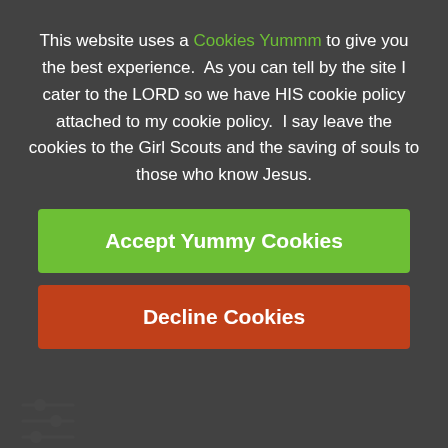This website uses a Cookies Yummm to give you the best experience.  As you can tell by the site I cater to the LORD so we have HIS cookie policy attached to my cookie policy.  I say leave the cookies to the Girl Scouts and the saving of souls to those who know Jesus.
Accept Yummy Cookies
Decline Cookies
We Are Coming In The Clouds Look Up!
[Figure (photo): Blurred background image partially visible at the bottom of the page]